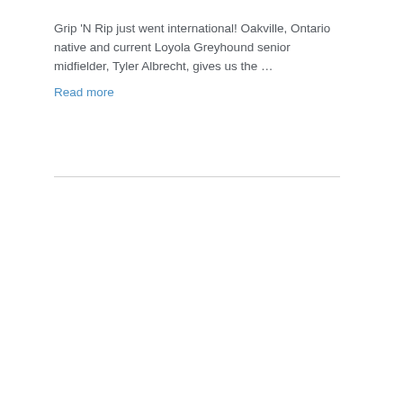Grip 'N Rip just went international! Oakville, Ontario native and current Loyola Greyhound senior midfielder, Tyler Albrecht, gives us the ... Read more